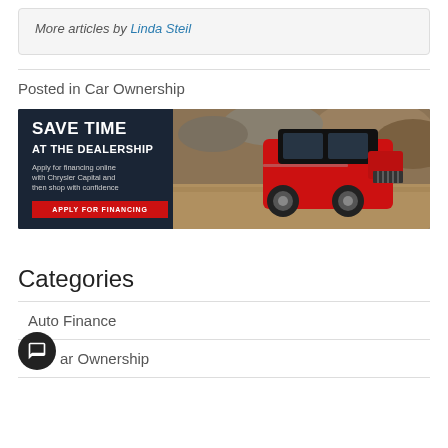More articles by Linda Steil
Posted in Car Ownership
[Figure (photo): Chrysler Capital advertisement banner: 'SAVE TIME AT THE DEALERSHIP. Apply for financing online with Chrysler Capital and then shop with confidence. APPLY FOR FINANCING' with a red Jeep Renegade on a dirt road.]
Categories
Auto Finance
Car Ownership